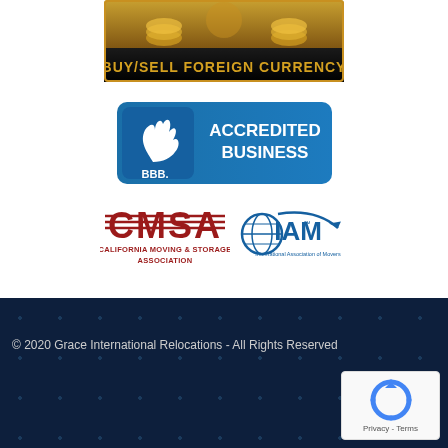[Figure (illustration): Buy/Sell Foreign Currency banner with gold coins imagery and gold/black text]
[Figure (logo): BBB Accredited Business badge in blue with white text and BBB flame logo]
[Figure (logo): CMSA California Moving & Storage Association logo in red]
[Figure (logo): IAM International Association of Movers logo in blue]
© 2020 Grace International Relocations - All Rights Reserved
[Figure (other): reCAPTCHA widget with Privacy and Terms links]